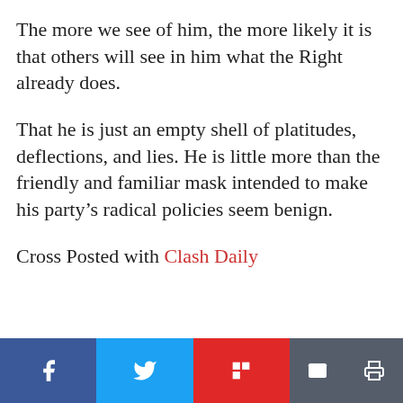The more we see of him, the more likely it is that others will see in him what the Right already does.
That he is just an empty shell of platitudes, deflections, and lies. He is little more than the friendly and familiar mask intended to make his party's radical policies seem benign.
Cross Posted with Clash Daily